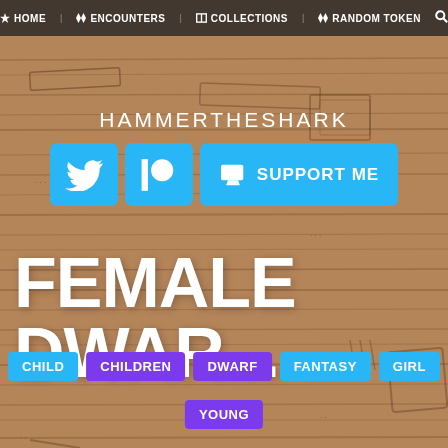HOME  ENCOUNTERS  COLLECTIONS  RANDOM TOKEN
HAMMERTHESHARK
[Figure (infographic): Social media buttons: Twitter bird icon, Patreon logo, and a coffee cup SUPPORT ME button, all in cyan/light blue]
FEMALE DWAR...
CHILD
CHILDREN
DWARF
FANTASY
GIRL
YOUNG